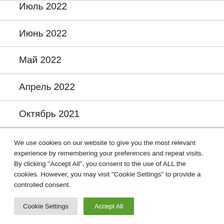Июль 2022
Июнь 2022
Май 2022
Апрель 2022
Октябрь 2021
We use cookies on our website to give you the most relevant experience by remembering your preferences and repeat visits. By clicking "Accept All", you consent to the use of ALL the cookies. However, you may visit "Cookie Settings" to provide a controlled consent.